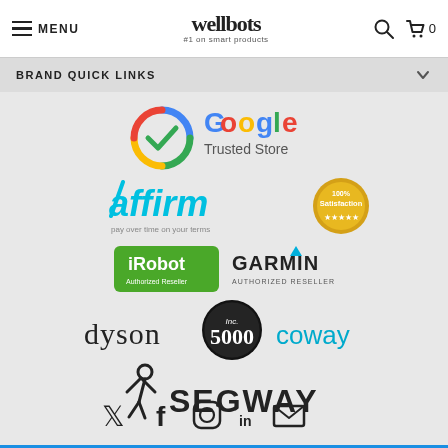MENU | wellbots #1 on smart products
BRAND QUICK LINKS
[Figure (logo): Google Trusted Store logo with colorful Google checkmark badge]
[Figure (logo): Affirm logo with 'pay over time on your terms' and 100% Satisfaction badge]
[Figure (logo): iRobot Authorized Reseller logo (green) and Garmin Authorized Reseller logo]
[Figure (logo): Dyson logo, Inc. 5000 badge, and Coway logo]
[Figure (logo): Segway logo]
[Figure (infographic): Social media icons: Twitter, Facebook, Instagram, LinkedIn, Email]